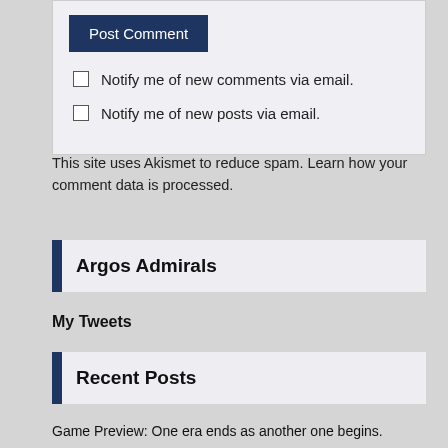Post Comment
Notify me of new comments via email.
Notify me of new posts via email.
This site uses Akismet to reduce spam. Learn how your comment data is processed.
Argos Admirals
My Tweets
Recent Posts
Game Preview: One era ends as another one begins.
Game Preview: One era ends as another begins.
Argos 2019 Depth Chart at a Glance
2018 Fan Favourite Moments
The Argos Should Host a Labour Day Classic